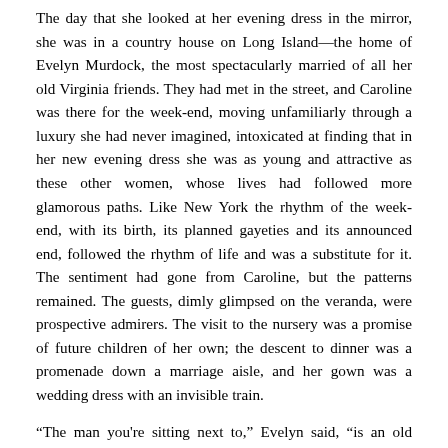The day that she looked at her evening dress in the mirror, she was in a country house on Long Island—the home of Evelyn Murdock, the most spectacularly married of all her old Virginia friends. They had met in the street, and Caroline was there for the week-end, moving unfamiliarly through a luxury she had never imagined, intoxicated at finding that in her new evening dress she was as young and attractive as these other women, whose lives had followed more glamorous paths. Like New York the rhythm of the week-end, with its birth, its planned gayeties and its announced end, followed the rhythm of life and was a substitute for it. The sentiment had gone from Caroline, but the patterns remained. The guests, dimly glimpsed on the veranda, were prospective admirers. The visit to the nursery was a promise of future children of her own; the descent to dinner was a promenade down a marriage aisle, and her gown was a wedding dress with an invisible train.
“The man you're sitting next to,” Evelyn said, “is an old friend of yours. Sidney Lahaye—he was at Camp Rosecrans.”
After a confused moment she found that it wasn't going to be difficult at all. In the moment she had met him—such a quick moment that she had no time to grow excited—she